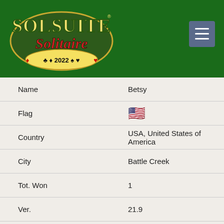[Figure (logo): SolSuite Solitaire 2022 logo on green background with card suit symbols]
| Field | Value |
| --- | --- |
| Name | Betsy |
| Flag | 🇺🇸 |
| Country | USA, United States of America |
| City | Battle Creek |
| Tot. Won | 1 |
| Ver. | 21.9 |
| Date | 2 Jan 22 |